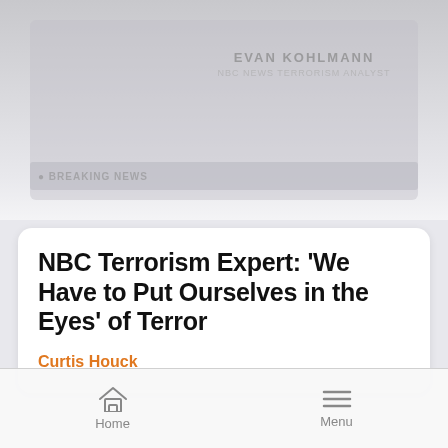[Figure (screenshot): Blurred/faded TV broadcast screenshot showing NBC News broadcast with person visible, serves as background at top of mobile app screen]
NBC Terrorism Expert: ‘We Have to Put Ourselves in the Eyes’ of Terror
Curtis Houck
[Figure (screenshot): NBC News video thumbnail showing France Terror Siege breaking news ticker with LIVE badge, DOW down 148.25, LEAN FORWARD ticker, split screen with street scene on left and news anchor/expert on right. Orange Video play button badge in top right corner.]
Home    Menu